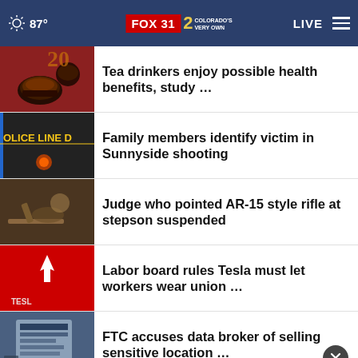87° FOX 31 2 Colorado's Very Own | LIVE
Tea drinkers enjoy possible health benefits, study …
Family members identify victim in Sunnyside shooting
Judge who pointed AR-15 style rifle at stepson suspended
Labor board rules Tesla must let workers wear union …
FTC accuses data broker of selling sensitive location …
[Figure (screenshot): Advertisement / video preview bar at bottom of news app page]